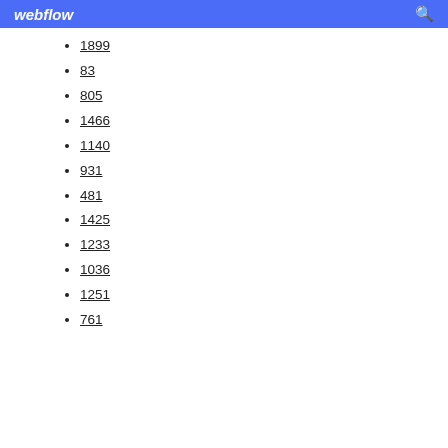webflow
1899
83
805
1466
1140
931
481
1425
1233
1036
1251
761